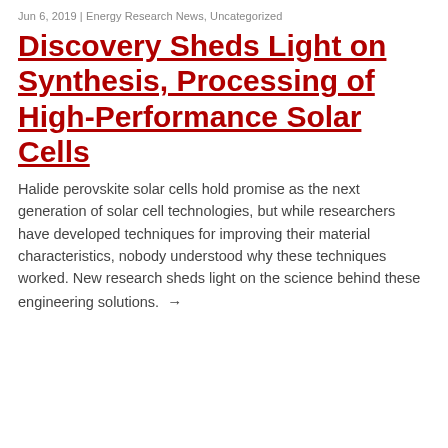Jun 6, 2019 | Energy Research News, Uncategorized
Discovery Sheds Light on Synthesis, Processing of High-Performance Solar Cells
Halide perovskite solar cells hold promise as the next generation of solar cell technologies, but while researchers have developed techniques for improving their material characteristics, nobody understood why these techniques worked. New research sheds light on the science behind these engineering solutions. →